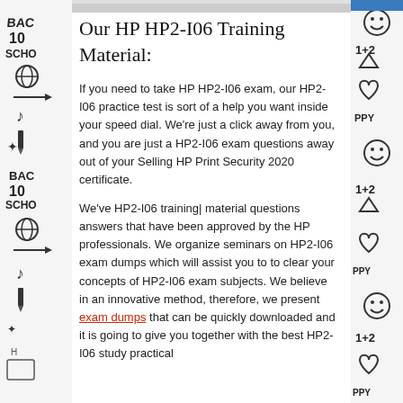[Figure (illustration): Left decorative strip with hand-drawn school doodles (BACK, 10, SCHOOL, globe, notes, pencils, etc.) in black and white]
[Figure (illustration): Right decorative strip with hand-drawn doodles (faces, hearts, 1+2, PPY, etc.) in black and white]
[Figure (photo): Top image bar partially visible, blue accent in top-right corner]
Our HP HP2-I06 Training Material:
If you need to take HP HP2-I06 exam, our HP2-I06 practice test is sort of a help you want inside your speed dial. We're just a click away from you, and you are just a HP2-I06 exam questions away out of your Selling HP Print Security 2020 certificate.
We've HP2-I06 training| material questions answers that have been approved by the HP professionals. We organize seminars on HP2-I06 exam dumps which will assist you to to clear your concepts of HP2-I06 exam subjects. We believe in an innovative method, therefore, we present exam dumps that can be quickly downloaded and it is going to give you together with the best HP2-I06 study practical